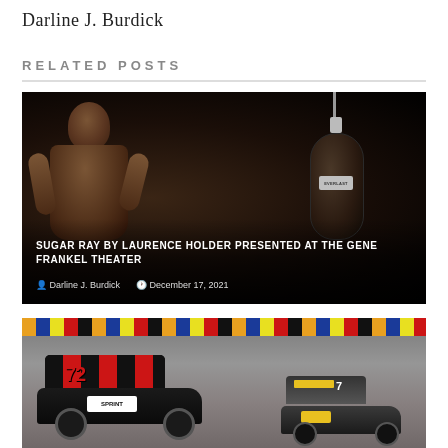Darline J. Burdick
RELATED POSTS
[Figure (photo): Boxing photo showing a shirtless male boxer looking up with a punching bag in the background, on a dark black background. Overlay text reads 'SUGAR RAY BY LAURENCE HOLDER PRESENTED AT THE GENE FRANKEL THEATER' with byline 'Darline J. Burdick' and date 'December 17, 2021'.]
[Figure (photo): Racing car photo showing sprint cars with number 72 visible, with colorful sponsor decals, on a racing track with barriers visible in the background.]